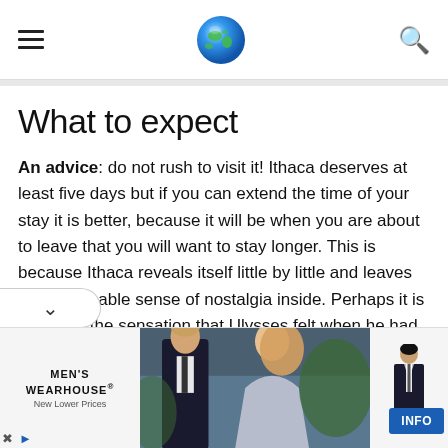≡ [globe icon] [search icon]
What to expect
An advice: do not rush to visit it! Ithaca deserves at least five days but if you can extend the time of your stay it is better, because it will be when you are about to leave that you will want to stay longer. This is because Ithaca reveals itself little by little and leaves an inexplicable sense of nostalgia inside. Perhaps it is precisely the sensation that Ulysses felt when he had to leave the island ... who knows.
[Figure (photo): Advertisement banner for Men's Wearhouse featuring a couple in formal wear and a man in a suit, with INFO button]